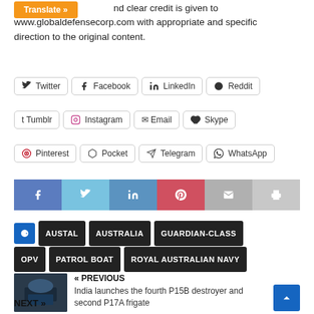nd clear credit is given to www.globaldefensecorp.com with appropriate and specific direction to the original content.
Twitter
Facebook
LinkedIn
Reddit
Tumblr
Instagram
Email
Skype
Pinterest
Pocket
Telegram
WhatsApp
[Figure (infographic): Social share icon bar with Facebook, Twitter, LinkedIn, Pinterest, Email, Print icons]
AUSTAL
AUSTRALIA
GUARDIAN-CLASS
OPV
PATROL BOAT
ROYAL AUSTRALIAN NAVY
« PREVIOUS
India launches the fourth P15B destroyer and second P17A frigate
NEXT »